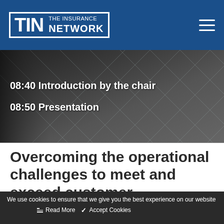[Figure (logo): TIN The Insurance Network logo on blue header bar with hamburger menu icon]
[Figure (photo): Dark metallic diamond/rhombus pattern glass facade building background with white text overlay showing schedule items: 08:40 Introduction by the chair, 08:50 Presentation]
08:40 Introduction by the chair
08:50 Presentation
Overcoming the operational challenges to meet and exceed customer
We use cookies to ensure that we give you the best experience on our website
Read More   Accept Cookies